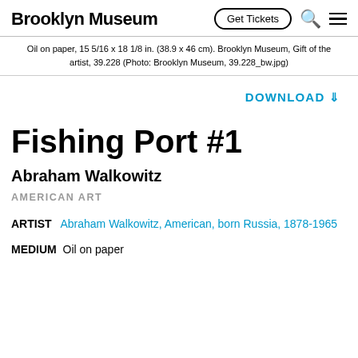Brooklyn Museum | Get Tickets
Oil on paper, 15 5/16 x 18 1/8 in. (38.9 x 46 cm). Brooklyn Museum, Gift of the artist, 39.228 (Photo: Brooklyn Museum, 39.228_bw.jpg)
DOWNLOAD ⇩
Fishing Port #1
Abraham Walkowitz
AMERICAN ART
ARTIST   Abraham Walkowitz, American, born Russia, 1878-1965
MEDIUM   Oil on paper